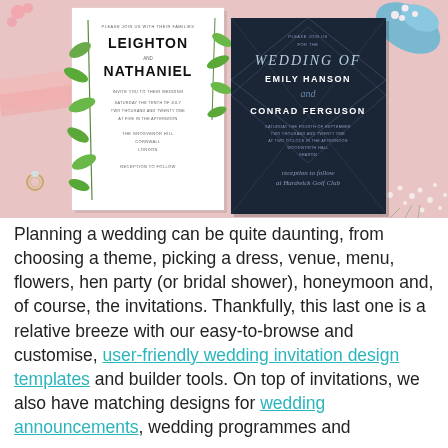[Figure (photo): Flat lay photo with pink background showing two wedding invitation cards. Left card is white with botanical/leaf design featuring names LEIGHTON and NATHANIEL. Right card is dark navy with geometric diamond border pattern featuring WEDDING OF EMILY HANSON and CONRAD FERGUSON. Pink accessories, blue shoe, and white flowers visible around the cards.]
Planning a wedding can be quite daunting, from choosing a theme, picking a dress, venue, menu, flowers, hen party (or bridal shower), honeymoon and, of course, the invitations. Thankfully, this last one is a relative breeze with our easy-to-browse and customise, user-friendly wedding invitation design templates and builder tools. On top of invitations, we also have matching designs for wedding announcements, wedding programmes and